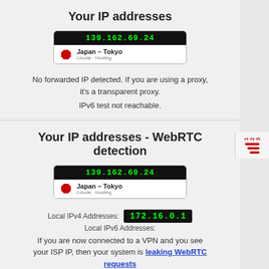Your IP addresses
[Figure (screenshot): IP address display box showing '139.162.69.24' in green on black background with Japan - Tokyo flag and location label below]
No forwarded IP detected. If you are using a proxy, it's a transparent proxy.
IPv6 test not reachable.
Your IP addresses - WebRTC detection
[Figure (screenshot): IP address display box showing '139.162.69.24' in green on black background with Japan - Tokyo flag and location label below]
Local IPv4 Addresses: 172.16.0.1
Local IPv6 Addresses:
If you are now connected to a VPN and you see your ISP IP, then your system is leaking WebRTC requests